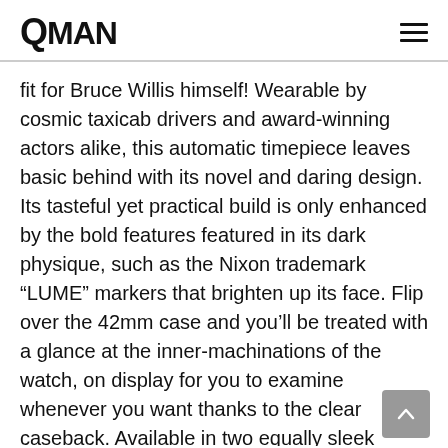QMAN
fit for Bruce Willis himself! Wearable by cosmic taxicab drivers and award-winning actors alike, this automatic timepiece leaves basic behind with its novel and daring design. Its tasteful yet practical build is only enhanced by the bold features featured in its dark physique, such as the Nixon trademark “LUME” markers that brighten up its face. Flip over the 42mm case and you’ll be treated with a glance at the inner-machinations of the watch, on display for you to examine whenever you want thanks to the clear caseback. Available in two equally sleek colours, this stainless-steel pick seamlessly blends the expected and the unconventional